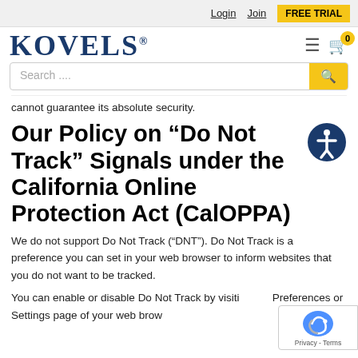Login  Join  FREE TRIAL
[Figure (logo): KOVELS logo in dark blue serif font with registered trademark symbol]
cannot guarantee its absolute security.
Our Policy on “Do Not Track” Signals under the California Online Protection Act (CalOPPA)
We do not support Do Not Track (“DNT”). Do Not Track is a preference you can set in your web browser to inform websites that you do not want to be tracked.
You can enable or disable Do Not Track by visiting the Preferences or Settings page of your web browser.